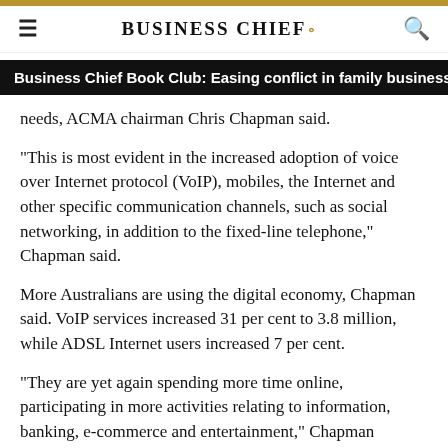BUSINESS CHIEF.
Business Chief Book Club: Easing conflict in family business
needs, ACMA chairman Chris Chapman said.
"This is most evident in the increased adoption of voice over Internet protocol (VoIP), mobiles, the Internet and other specific communication channels, such as social networking, in addition to the fixed-line telephone," Chapman said.
More Australians are using the digital economy, Chapman said. VoIP services increased 31 per cent to 3.8 million, while ADSL Internet users increased 7 per cent.
"They are yet again spending more time online, participating in more activities relating to information, banking, e-commerce and entertainment," Chapman